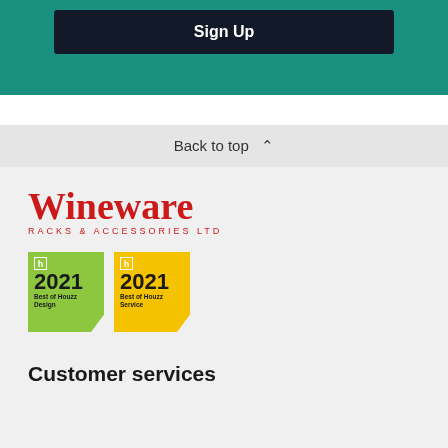[Figure (screenshot): Sign Up button on teal background]
Back to top ∧
[Figure (logo): Wineware Racks & Accessories Ltd logo in red]
[Figure (infographic): 2021 Best of Houzz Design badge (green) and 2021 Best of Houzz Service badge (yellow)]
Customer services